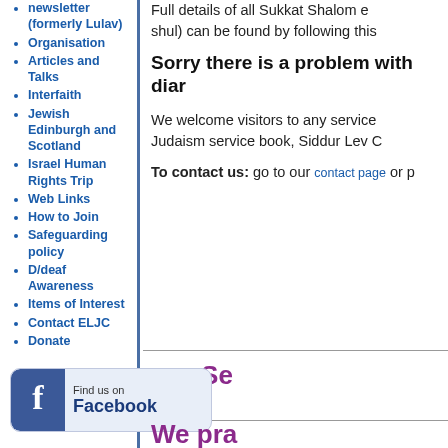newsletter (formerly Lulav)
Organisation
Articles and Talks
Interfaith
Jewish Edinburgh and Scotland
Israel Human Rights Trip
Web Links
How to Join
Safeguarding policy
D/deaf Awareness
Items of Interest
Contact ELJC
Donate
Full details of all Sukkat Shalom e... shul) can be found by following this...
Sorry there is a problem with diar...
We welcome visitors to any service... Judaism service book, Siddur Lev C...
To contact us: go to our contact page or p...
[Figure (other): Facebook Find us on Facebook banner/button]
* * * * Se...
We pra...